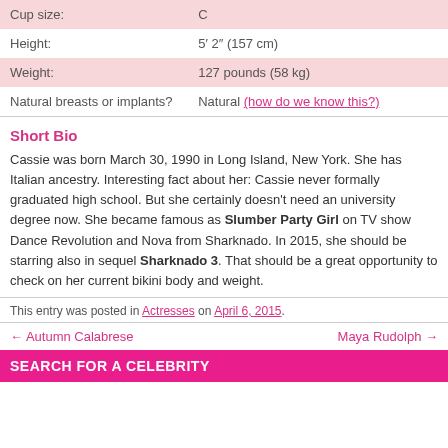| Cup size: | C |
| Height: | 5′ 2″ (157 cm) |
| Weight: | 127 pounds (58 kg) |
| Natural breasts or implants? | Natural (how do we know this?) |
Short Bio
Cassie was born March 30, 1990 in Long Island, New York. She has Italian ancestry. Interesting fact about her: Cassie never formally graduated high school. But she certainly doesn't need an university degree now. She became famous as Slumber Party Girl on TV show Dance Revolution and Nova from Sharknado. In 2015, she should be starring also in sequel Sharknado 3. That should be a great opportunity to check on her current bikini body and weight.
This entry was posted in Actresses on April 6, 2015.
← Autumn Calabrese   Maya Rudolph →
SEARCH FOR A CELEBRITY